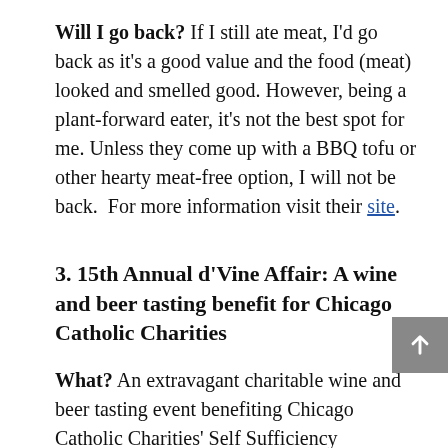Will I go back? If I still ate meat, I'd go back as it's a good value and the food (meat) looked and smelled good. However, being a plant-forward eater, it's not the best spot for me. Unless they come up with a BBQ tofu or other hearty meat-free option, I will not be back.  For more information visit their site.
3. 15th Annual d'Vine Affair: A wine and beer tasting benefit for Chicago Catholic Charities
What? An extravagant charitable wine and beer tasting event benefiting Chicago Catholic Charities' Self Sufficiency Programs. Long story short, there are two floors with over 250 different wines from around the world, craft beer and spirits. It's an amazing event!!
Where? The Union League Club Chicago January 31st,